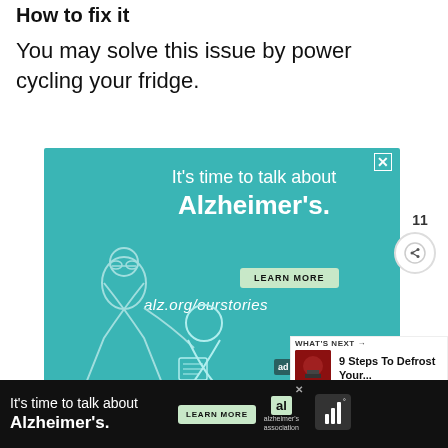How to fix it
You may solve this issue by power cycling your fridge.
[Figure (illustration): Advertisement for Alzheimer's Association. Teal background with white illustrated figures of two elderly people. Text reads: It's time to talk about Alzheimer's. LEARN MORE. alz.org/ourstories. alzheimer's association logo with 'ad' badge.]
[Figure (infographic): What's Next panel: 9 Steps To Defrost Your... with a dark food image thumbnail, heart/like button showing 11 likes, and share button.]
[Figure (illustration): Bottom banner advertisement: It's time to talk about Alzheimer's. LEARN MORE button. alzheimer's association logo. WiFi-like icon on the right.]